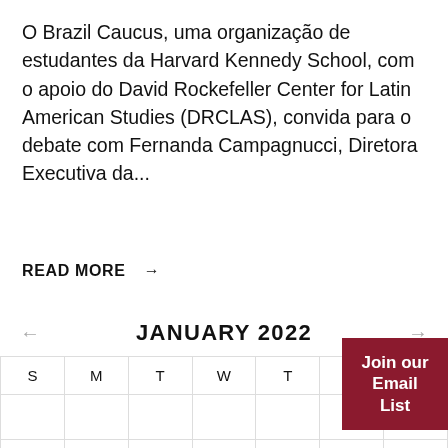O Brazil Caucus, uma organização de estudantes da Harvard Kennedy School, com o apoio do David Rockefeller Center for Latin American Studies (DRCLAS), convida para o debate com Fernanda Campagnucci, Diretora Executiva da...
READ MORE →
JANUARY 2022
| S | M | T | W | T | F | S |
| --- | --- | --- | --- | --- | --- | --- |
|  |  |  |  |  |  | 1 |
| 2 | 3 | 4 | 5 | 6 | 7 | 8 |